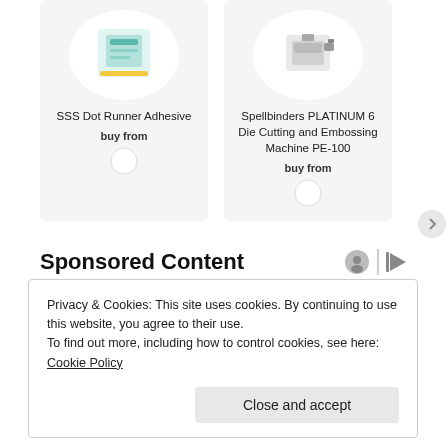[Figure (other): Product card: SSS Dot Runner Adhesive with product image in white circle, buy from text and dog logo icon]
[Figure (other): Product card: Spellbinders PLATINUM 6 Die Cutting and Embossing Machine PE-100 with product image in white circle, buy from text and dog logo icon]
Sponsored Content
Privacy & Cookies: This site uses cookies. By continuing to use this website, you agree to their use.
To find out more, including how to control cookies, see here: Cookie Policy
Close and accept